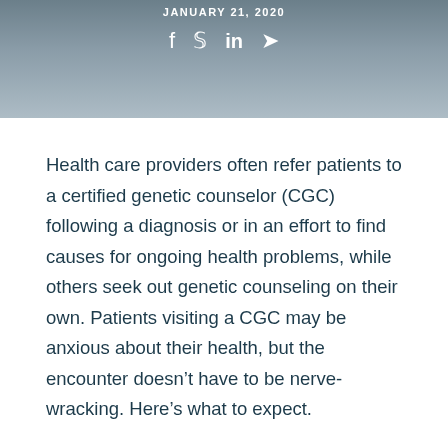JANUARY 21, 2020
[Figure (illustration): Header image with social media share icons (f, Twitter bird, in, paper plane) on a grey blurred background]
Health care providers often refer patients to a certified genetic counselor (CGC) following a diagnosis or in an effort to find causes for ongoing health problems, while others seek out genetic counseling on their own. Patients visiting a CGC may be anxious about their health, but the encounter doesn't have to be nerve-wracking. Here's what to expect.
First, you don't have to go alone. Christin Coffeen, MS, CGC, a licensed certified genetic